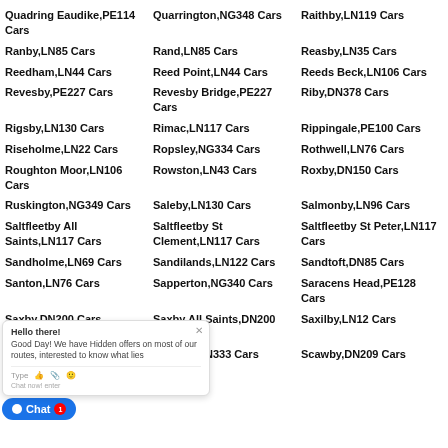Quadring Eaudike,PE114 Cars
Quarrington,NG348 Cars
Raithby,LN119 Cars
Ranby,LN85 Cars
Rand,LN85 Cars
Reasby,LN35 Cars
Reedham,LN44 Cars
Reed Point,LN44 Cars
Reeds Beck,LN106 Cars
Revesby,PE227 Cars
Revesby Bridge,PE227 Cars
Riby,DN378 Cars
Rigsby,LN130 Cars
Rimac,LN117 Cars
Rippingale,PE100 Cars
Riseholme,LN22 Cars
Ropsley,NG334 Cars
Rothwell,LN76 Cars
Roughton Moor,LN106 Cars
Rowston,LN43 Cars
Roxby,DN150 Cars
Ruskington,NG349 Cars
Saleby,LN130 Cars
Salmonby,LN96 Cars
Saltfleetby All Saints,LN117 Cars
Saltfleetby St Clement,LN117 Cars
Saltfleetby St Peter,LN117 Cars
Sandholme,LN69 Cars
Sandilands,LN122 Cars
Sandtoft,DN85 Cars
Santorpe,LN76 Cars
Sapperton,NG340 Cars
Saracens Head,PE128 Cars
Saxby,DN200 Cars
Saxby All Saints,DN200 Cars
Saxilby,LN12 Cars
Scampton,LN12 Cars
Scartho,DN333 Cars
Scawby,DN209 Cars